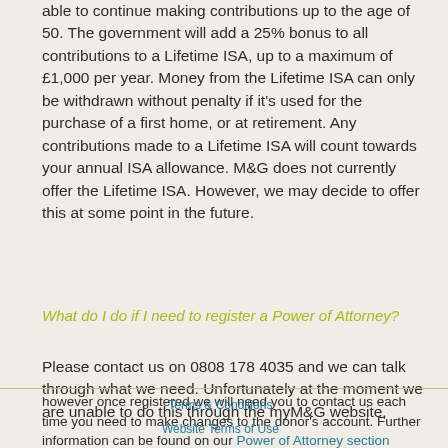able to continue making contributions up to the age of 50. The government will add a 25% bonus to all contributions to a Lifetime ISA, up to a maximum of £1,000 per year. Money from the Lifetime ISA can only be withdrawn without penalty if it's used for the purchase of a first home, or at retirement. Any contributions made to a Lifetime ISA will count towards your annual ISA allowance. M&G does not currently offer the Lifetime ISA. However, we may decide to offer this at some point in the future.
What do I do if I need to register a Power of Attorney?
Please contact us on 0808 178 4035 and we can talk through what we need. Unfortunately at the moment we are unable to do this through the myM&G website, however once registered we will need you to contact us each time you need to make changes to the donor's account. Further information can be found on our Power of Attorney section
Terms & Conditions
Website Terms of Use
Privacy and Cookies Policy
About us